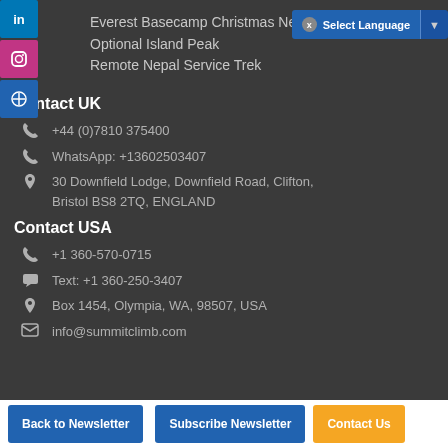Everest Basecamp Christmas New Year`s Trek + Optional Island Peak
Remote Nepal Service Trek
Contact UK
+44 (0)7810 375400
WhatsApp: +13602503407
30 Downfield Lodge, Downfield Road, Clifton, Bristol BS8 2TQ, ENGLAND
Contact USA
+1 360-570-0715
Text: +1 360-250-3407
Box 1454, Olympia, WA, 98507, USA
info@summitclimb.com
Back to Newsletter | Subscribe Newsletter | Contact Us